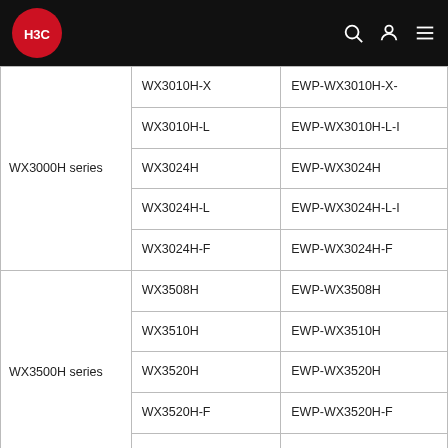H3C
| Series | Model | Part Number |
| --- | --- | --- |
| WX3000H series | WX3010H-X | EWP-WX3010H-X- |
| WX3000H series | WX3010H-L | EWP-WX3010H-L-I |
| WX3000H series | WX3024H | EWP-WX3024H |
| WX3000H series | WX3024H-L | EWP-WX3024H-L-I |
| WX3000H series | WX3024H-F | EWP-WX3024H-F |
| WX3500H series | WX3508H | EWP-WX3508H |
| WX3500H series | WX3510H | EWP-WX3510H |
| WX3500H series | WX3520H | EWP-WX3520H |
| WX3500H series | WX3520H-F | EWP-WX3520H-F |
| WX3500H series | WX3540H | EWP-WX3540H |
| WX5500E series | WX5510E | EWP-WX5510E |
| WX5500E series | WX5540E | EWP-WX5540E |
| WX5500H series | WX5540H | EWP-WX5540H |
| WX5500H series | WX5560H | EWP-WX5560H |